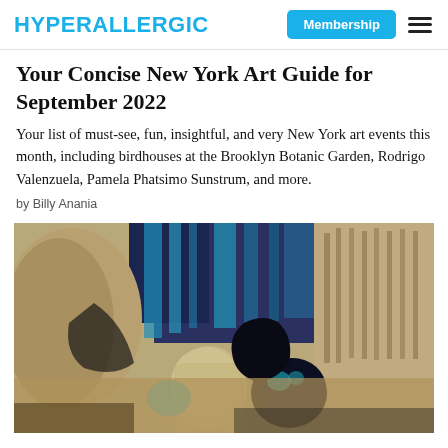HYPERALLERGIC | Membership
Your Concise New York Art Guide for September 2022
Your list of must-see, fun, insightful, and very New York art events this month, including birdhouses at the Brooklyn Botanic Garden, Rodrigo Valenzuela, Pamela Phatsimo Sunstrum, and more.
by Billy Anania
[Figure (photo): A painting detail showing abstract figures and pottery in muted earth tones with blue and teal accents, suggestive of a still life or figurative scene.]